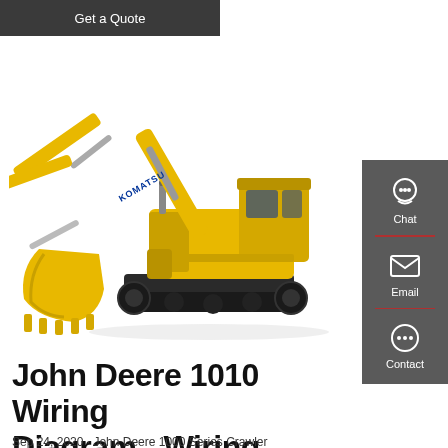Get a Quote
[Figure (photo): Yellow Komatsu hydraulic excavator with large bucket, crawler tracks, shown on white background]
John Deere 1010 Wiring Diagram - Wiring Diagram
Sep 24, 2020 · John Deere 1000 Series Crawler